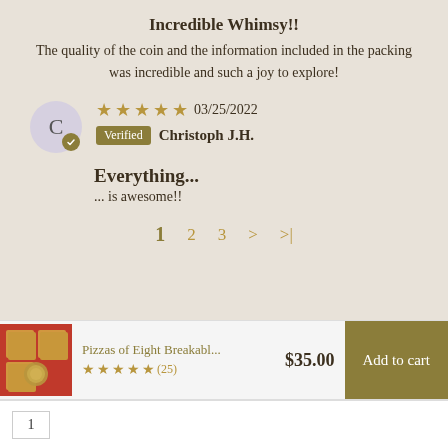Incredible Whimsy!!
The quality of the coin and the information included in the packing was incredible and such a joy to explore!
★★★★★ 03/25/2022 Verified Christoph J.H.
Everything...
... is awesome!!
1  2  3  >  >|
Pizzas of Eight Breakabl...  $35.00  ★★★★★(25)  Add to cart
1